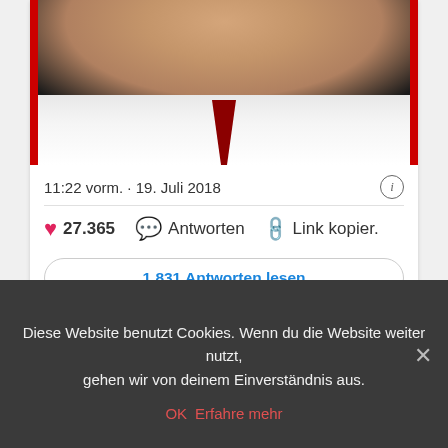[Figure (photo): Cropped photo of a person showing chin and red tie on dark background, with red border strips on left and right edges]
11:22 vorm. · 19. Juli 2018
27.365  Antworten  Link kopier.
1.831 Antworten lesen
teilen
twittern  0
Diese Website benutzt Cookies. Wenn du die Website weiter nutzt, gehen wir von deinem Einverständnis aus.
OK  Erfahre mehr